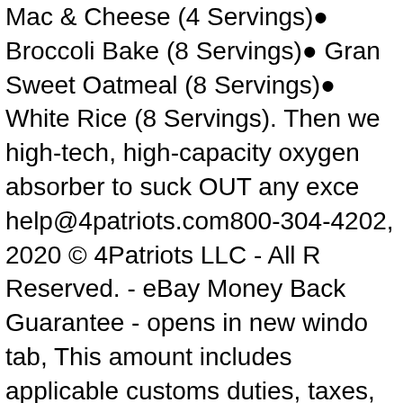Mac & Cheese (4 Servings)● Broccoli Bake (8 Servings)● Gran Sweet Oatmeal (8 Servings)● White Rice (8 Servings). Then we high-tech, high-capacity oxygen absorber to suck OUT any exce help@4patriots.com800-304-4202, 2020 © 4Patriots LLC - All R Reserved. - eBay Money Back Guarantee - opens in new windo tab, This amount includes applicable customs duties, taxes, bro and other fees. Next, an American-made packing machine pack meals into resealable Mylar pouches. Keep your food in dry, sta temperatures – away from bright light – and you'll find that it tas great when you open it, even if that's years from now. Your purc risk-free, because you're protected by a 100% no-questions-ask money-back guarantee. And again – thanks to you – we provide meaningful support to important charities that help American Ve and their families. Keep your food in dry, stable temperatures – from bright light – and you'll find that it tastes great when you op This is a slow and painstaking technique… but it's worth it beca get incredible taste and nutrition, for a great value. Or how man people you'll be with. PERFECTLY PRESERVED FLAVOR - La There's no telling exactly how long these kits will be in stock. Th